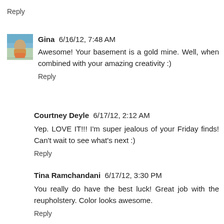Reply
Gina  6/16/12, 7:48 AM
Awesome! Your basement is a gold mine. Well, when combined with your amazing creativity :)
Reply
Courtney Deyle  6/17/12, 2:12 AM
Yep. LOVE IT!!! I'm super jealous of your Friday finds! Can't wait to see what's next :)
Reply
Tina Ramchandani  6/17/12, 3:30 PM
You really do have the best luck! Great job with the reupholstery. Color looks awesome.
Reply